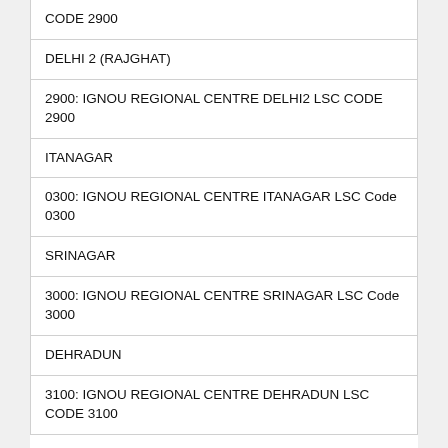| CODE 2900 (truncated top) |
| DELHI 2 (RAJGHAT) |
| 2900: IGNOU REGIONAL CENTRE DELHI2 LSC CODE 2900 |
| ITANAGAR |
| 0300: IGNOU REGIONAL CENTRE ITANAGAR LSC Code 0300 |
| SRINAGAR |
| 3000: IGNOU REGIONAL CENTRE SRINAGAR LSC Code 3000 |
| DEHRADUN |
| 3100: IGNOU REGIONAL CENTRE DEHRADUN LSC CODE 3100 |